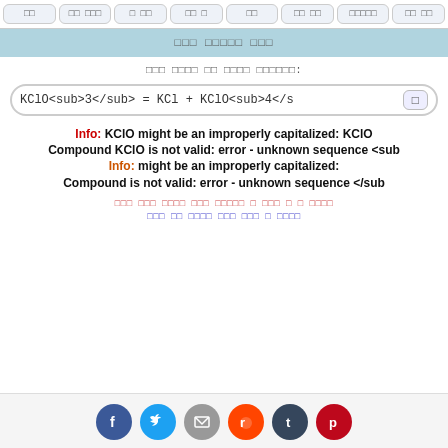□□  □□ □□□  □ □□  □□ □  □□  □□ □□  □□□□□  □□ □□
□□□ □□□□□ □□□
□□□ □□□□ □□ □□□□ □□□□□□:
KClO<sub>3</sub> = KCl + KClO<sub>4</sub>
Info: KClO might be an improperly capitalized: KClO
Compound KClO is not valid: error - unknown sequence <sub
Info: might be an improperly capitalized:
Compound is not valid: error - unknown sequence </sub
□□□ □□□ □□□□ □□□ □□□□□ □ □□□ □ □ □□□□
□□□ □□ □□□□ □□□ □□□ □ □□□□